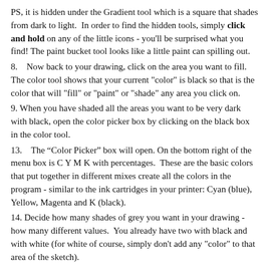PS, it is hidden under the Gradient tool which is a square that shades from dark to light. In order to find the hidden tools, simply click and hold on any of the little icons - you'll be surprised what you find! The paint bucket tool looks like a little paint can spilling out.
8.   Now back to your drawing, click on the area you want to fill. The color tool shows that your current "color" is black so that is the color that will "fill" or "paint" or "shade" any area you click on.
9. When you have shaded all the areas you want to be very dark with black, open the color picker box by clicking on the black box in the color tool.
13.   The “Color Picker” box will open. On the bottom right of the menu box is C Y M K with percentages. These are the basic colors that put together in different mixes create all the colors in the program - similar to the ink cartridges in your printer: Cyan (blue), Yellow, Magenta and K (black).
14. Decide how many shades of grey you want in your drawing - how many different values. You already have two with black and with white (for white of course, simply don't add any "color" to that area of the sketch).
Set C, Y and M to zero, 0%